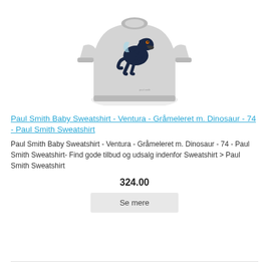[Figure (photo): Grey melange baby sweatshirt with large dark navy dinosaur (T-Rex) graphic print on the front, long sleeves with ribbed cuffs]
Paul Smith Baby Sweatshirt - Ventura - Gråmeleret m. Dinosaur - 74 - Paul Smith Sweatshirt
Paul Smith Baby Sweatshirt - Ventura - Gråmeleret m. Dinosaur - 74 - Paul Smith Sweatshirt- Find gode tilbud og udsalg indenfor Sweatshirt > Paul Smith Sweatshirt
324.00
Se mere